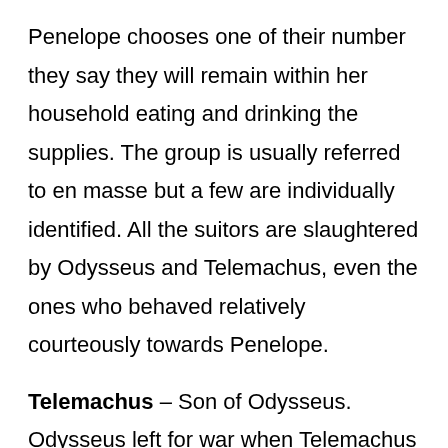Penelope chooses one of their number they say they will remain within her household eating and drinking the supplies. The group is usually referred to en masse but a few are individually identified. All the suitors are slaughtered by Odysseus and Telemachus, even the ones who behaved relatively courteously towards Penelope.
Telemachus – Son of Odysseus. Odysseus left for war when Telemachus was born and so Telemachus has never known his father. However, in his search Telemachus learns much about the ways of his Odysseus and when they are reunited in Ithaca both act together to kill the suitors. In